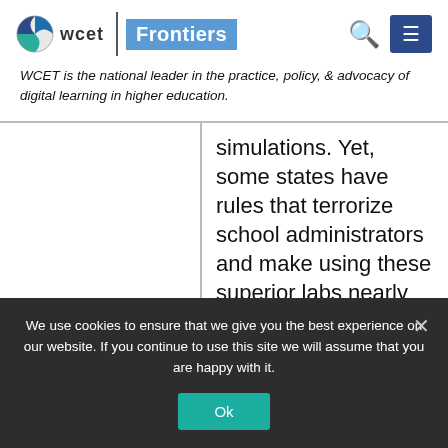[Figure (logo): WCET Frontiers logo with globe icon, 'wcet' text, vertical divider, and 'Frontiers' in blue box]
WCET is the national leader in the practice, policy, & advocacy of digital learning in higher education.
simulations. Yet, some states have rules that terrorize school administrators and make using these superior labs nearly impossible. Those
We use cookies to ensure that we give you the best experience on our website. If you continue to use this site we will assume that you are happy with it.